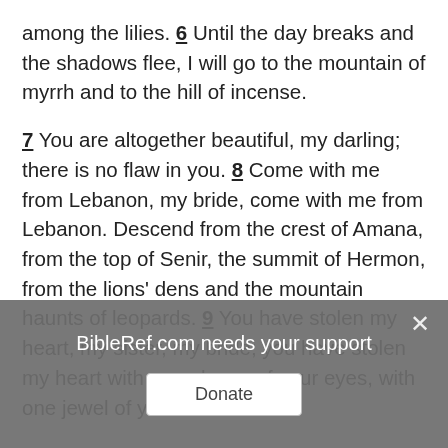among the lilies. 6 Until the day breaks and the shadows flee, I will go to the mountain of myrrh and to the hill of incense. 7 You are altogether beautiful, my darling; there is no flaw in you. 8 Come with me from Lebanon, my bride, come with me from Lebanon. Descend from the crest of Amana, from the top of Senir, the summit of Hermon, from the lions' dens and the mountain haunts of leopards. 9 You have stolen my heart, my sister, my bride; you have stolen my heart with one glance of your eyes, with one jewel of your
BibleRef.com needs your support
Donate